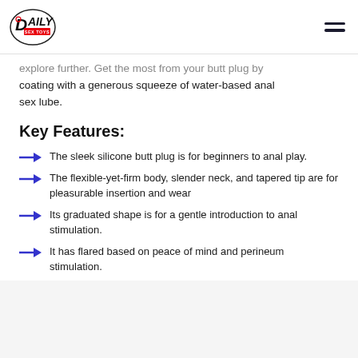Daily Sex Toys
explore further. Get the most from your butt plug by coating with a generous squeeze of water-based anal sex lube.
Key Features:
The sleek silicone butt plug is for beginners to anal play.
The flexible-yet-firm body, slender neck, and tapered tip are for pleasurable insertion and wear
Its graduated shape is for a gentle introduction to anal stimulation.
It has flared based on peace of mind and perineum stimulation.